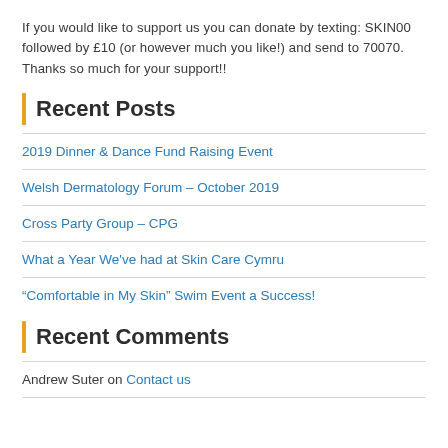If you would like to support us you can donate by texting: SKIN00 followed by £10 (or however much you like!) and send to 70070. Thanks so much for your support!!
Recent Posts
2019 Dinner & Dance Fund Raising Event
Welsh Dermatology Forum – October 2019
Cross Party Group – CPG
What a Year We've had at Skin Care Cymru
“Comfortable in My Skin” Swim Event a Success!
Recent Comments
Andrew Suter on Contact us